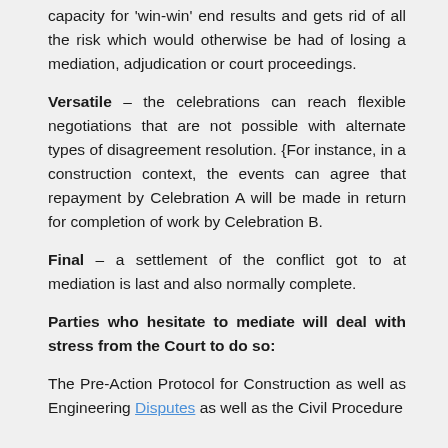capacity for 'win-win' end results and gets rid of all the risk which would otherwise be had of losing a mediation, adjudication or court proceedings.
Versatile – the celebrations can reach flexible negotiations that are not possible with alternate types of disagreement resolution. {For instance, in a construction context, the events can agree that repayment by Celebration A will be made in return for completion of work by Celebration B.
Final – a settlement of the conflict got to at mediation is last and also normally complete.
Parties who hesitate to mediate will deal with stress from the Court to do so:
The Pre-Action Protocol for Construction as well as Engineering Disputes as well as the Civil Procedure